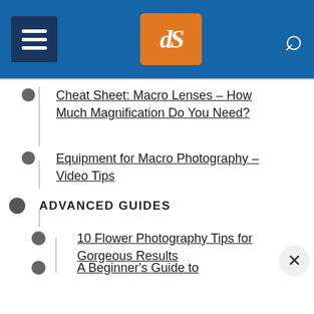dPS (digital Photography School) navigation header with menu icon, logo, and search icon
Cheat Sheet: Macro Lenses – How Much Magnification Do You Need?
Equipment for Macro Photography – Video Tips
ADVANCED GUIDES
10 Flower Photography Tips for Gorgeous Results
A Beginner's Guide to Photographing Flowers
How to Photograph Beautiful Winter Snowdrops (or Other Flowers)